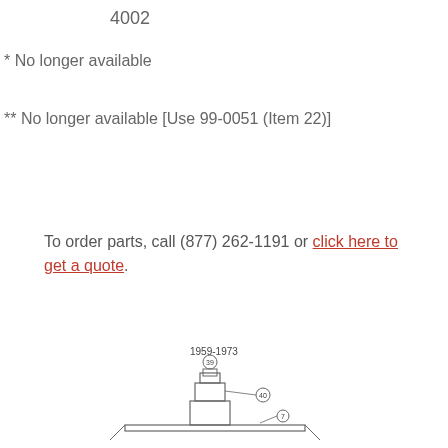4002
* No longer available
** No longer available [Use 99-0051 (Item 22)]
To order parts, call (877) 262-1191 or click here to get a quote.
[Figure (engineering-diagram): Engineering diagram of a part labeled 1959-1973 with item numbers 39, 40, and 7 indicated by callout lines pointing to components of a mechanical assembly viewed from the side.]